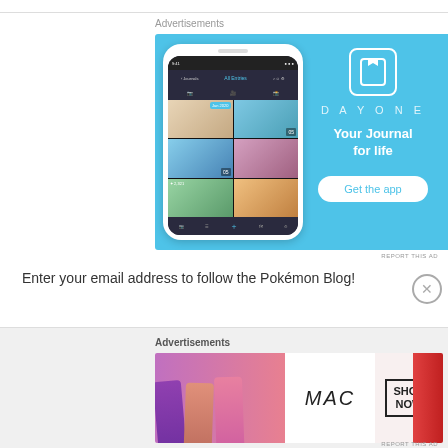Advertisements
[Figure (illustration): DayOne app advertisement. Light blue background with a phone mockup showing the DayOne journal app interface on the left, and on the right a bookmark icon, 'DAY ONE' text in spaced letters, 'Your Journal for life' tagline, and a 'Get the app' button.]
REPORT THIS AD
Enter your email address to follow the Pokémon Blog!
Advertisements
[Figure (illustration): MAC Cosmetics advertisement showing colorful lipsticks on the left, MAC logo in center, and a 'SHOP NOW' box on the right with a red lipstick on the far right edge.]
REPORT THIS AD